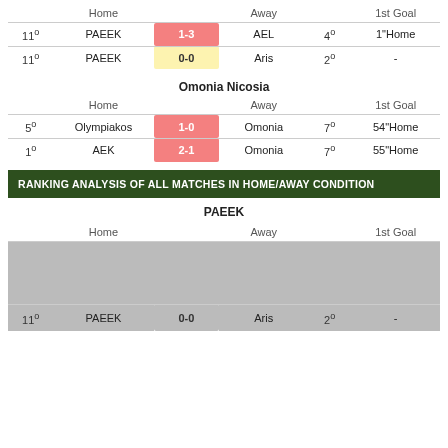|  | Home |  | Away |  | 1st Goal |
| --- | --- | --- | --- | --- | --- |
| 11° | PAEEK | 1-3 | AEL | 4° | 1"Home |
| 11° | PAEEK | 0-0 | Aris | 2° | - |
Omonia Nicosia
|  | Home |  | Away |  | 1st Goal |
| --- | --- | --- | --- | --- | --- |
| 5° | Olympiakos | 1-0 | Omonia | 7° | 54"Home |
| 1° | AEK | 2-1 | Omonia | 7° | 55"Home |
RANKING ANALYSIS OF ALL MATCHES IN HOME/AWAY CONDITION
PAEEK
|  | Home |  | Away |  | 1st Goal |
| --- | --- | --- | --- | --- | --- |
| 11° | PAEEK | 0-0 | Aris | 2° | - |